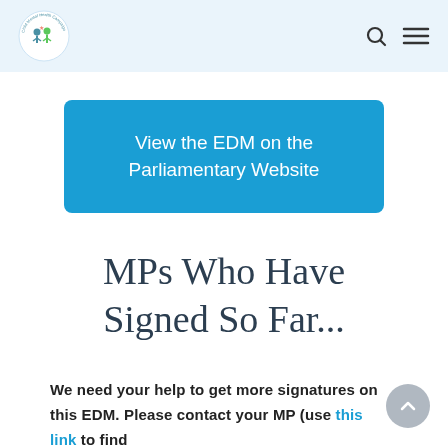[Child Mental Health Campaign Logo] [Search icon] [Menu icon]
View the EDM on the Parliamentary Website
MPs Who Have Signed So Far...
We need your help to get more signatures on this EDM. Please contact your MP (use this link to find